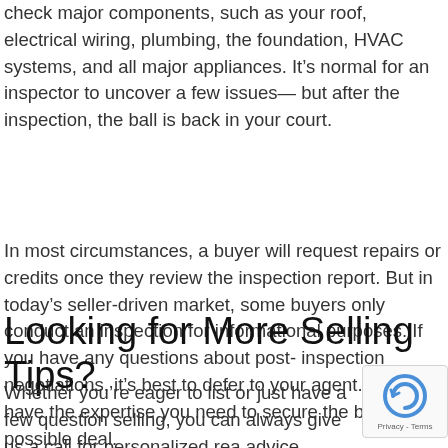check major components, such as your roof, electrical wiring, plumbing, the foundation, HVAC systems, and all major appliances. It's normal for an inspector to uncover a few issues—but after the inspection, the ball is back in your court.
In most circumstances, a buyer will request repairs or credits once they review the inspection report. But in today's seller-driven market, some buyers only conduct an inspection for informational purposes. If you have any questions about post-inspection negotiations, it's best to defer to your agent. They have the expertise you need to secure the best possible deal.
Looking for More Selling Tips?
Whether you're eager to list or just have a few question selling, you can always give us a call for personalized rea advice. We're here to help you navigate every step of the home